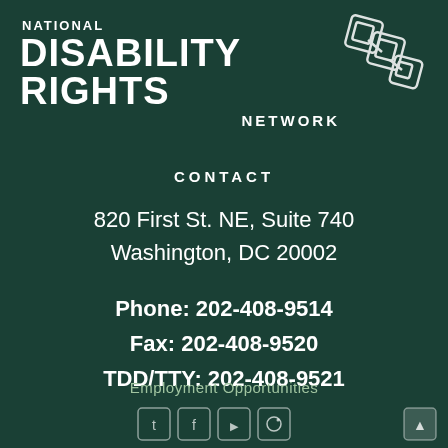[Figure (logo): National Disability Rights Network logo with chain-link graphic icon in top right]
CONTACT
820 First St. NE, Suite 740
Washington, DC 20002
Phone: 202-408-9514
Fax: 202-408-9520
TDD/TTY: 202-408-9521
Employment Opportunities
[Figure (illustration): Social media icons (Twitter, Facebook, YouTube, Instagram) and an up arrow button at the bottom of the page]